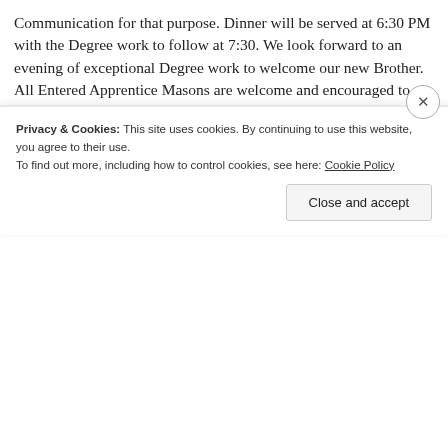Communication for that purpose. Dinner will be served at 6:30 PM with the Degree work to follow at 7:30. We look forward to an evening of exceptional Degree work to welcome our new Brother. All Entered Apprentice Masons are welcome and encouraged to join us.
SHARE THIS:
Facebook  Twitter  LinkedIn  Email
Loading...
Privacy & Cookies: This site uses cookies. By continuing to use this website, you agree to their use.
To find out more, including how to control cookies, see here: Cookie Policy
Close and accept